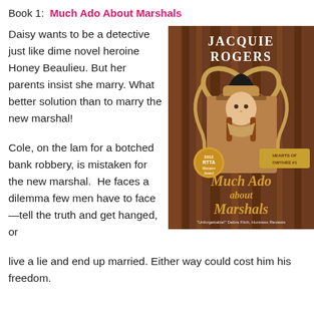Book 1:  Much Ado About Marshals
Daisy wants to be a detective just like dime novel heroine Honey Beaulieu. But her parents insist she marry. What better solution than to marry the new marshal!
[Figure (photo): Book cover of 'Much Ado About Marshals' by Jacquie Rogers. Hearts of Owyhee #1. Features a cowboy with a hat and braids in front of a heart made of rope, with a silhouette of a couple inside. 2012 RTTA Western Award badge. Quote: 'Unforgettable!' Debra Fitch, Huntress Reviews.]
Cole, on the lam for a botched bank robbery, is mistaken for the new marshal.  He faces a dilemma few men have to face—tell the truth and get hanged, or live a lie and end up married. Either way could cost him his freedom.